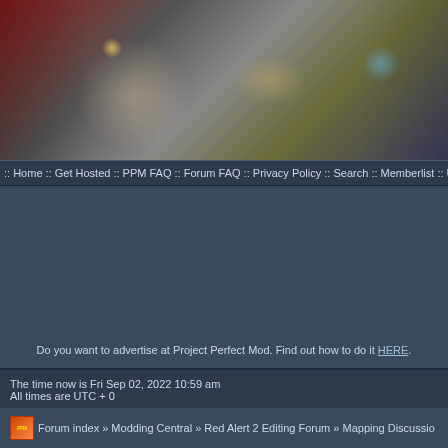[Figure (photo): Project Perfect Mod forum banner image showing game artwork with mechanical/military figures and equipment from Red Alert 2, with dark red, grey and blue tones]
:: Home :: Get Hosted :: PPM FAQ :: Forum FAQ :: Privacy Policy :: Search :: Memberlist :: U
Do you want to advertise at Project Perfect Mod. Find out how to do it HERE.
The time now is Fri Sep 02, 2022 10:59 am
All times are UTC + 0
Forum index » Modding Central » Red Alert 2 Editing Forum » Mapping Discussio
Need help with singleplayer issue.
Moderators: Global Moderators, Red Alert 2 Moderators